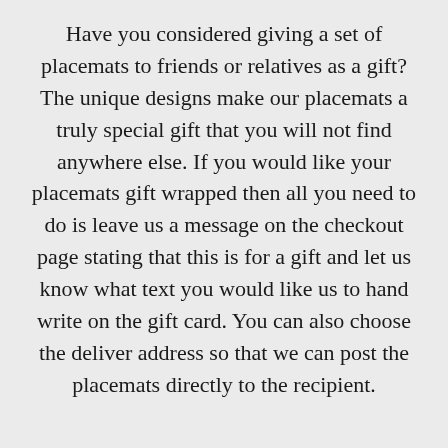Have you considered giving a set of placemats to friends or relatives as a gift? The unique designs make our placemats a truly special gift that you will not find anywhere else. If you would like your placemats gift wrapped then all you need to do is leave us a message on the checkout page stating that this is for a gift and let us know what text you would like us to hand write on the gift card. You can also choose the deliver address so that we can post the placemats directly to the recipient.